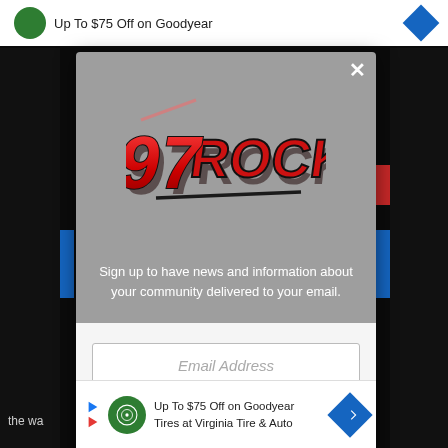[Figure (screenshot): Website popup modal overlay for 97Rock radio station newsletter signup, with Facebook like button and a Goodyear tire advertisement banner at the bottom]
Up To $75 Off on Goodyear
[Figure (logo): 97Rock logo in red graffiti-style lettering with black outline]
Sign up to have news and information about your community delivered to your email.
Email Address
Like Us On Facebook
Up To $75 Off on Goodyear Tires at Virginia Tire & Auto